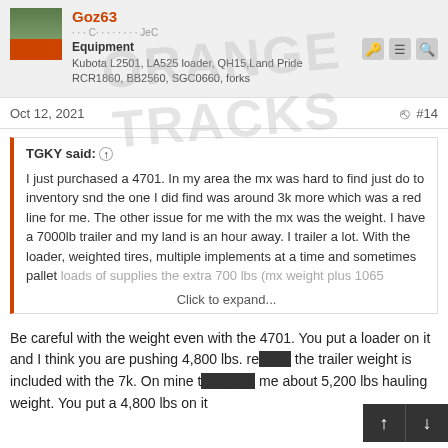Goz63 · Equipment · Kubota L2501, LA525 loader, QH15, Land Pride RCR1860, BB2560, SGC0660, forks
Oct 12, 2021  #14
TGKY said: ↑

I just purchased a 4701. In my area the mx was hard to find just do to inventory snd the one I did find was around 3k more which was a red line for me. The other issue for me with the mx was the weight. I have a 7000lb trailer and my land is an hour away. I trailer a lot. With the loader, weighted tires, multiple implements at a time and sometimes pallet loads of supplies the extra 700 lbs (mx weight plus 1065

Click to expand...
Be careful with the weight even with the 4701. You put a loader on it and I think you are pushing 4,800 lbs. remember the trailer weight is included with the 7k. On mine that gave me about 5,200 lbs hauling weight. You put a 4,800 lbs on it